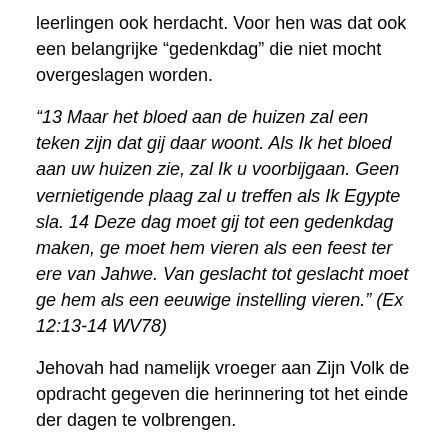leerlingen ook herdacht. Voor hen was dat ook een belangrijke “gedenkdag” die niet mocht overgeslagen worden.
“13 Maar het bloed aan de huizen zal een teken zijn dat gij daar woont. Als Ik het bloed aan uw huizen zie, zal Ik u voorbijgaan. Geen vernietigende plaag zal u treffen als Ik Egypte sla. 14 Deze dag moet gij tot een gedenkdag maken, ge moet hem vieren als een feest ter ere van Jahwe. Van geslacht tot geslacht moet ge hem als een eeuwige instelling vieren.” (Ex 12:13-14 WV78)
Jehovah had namelijk vroeger aan Zijn Volk de opdracht gegeven die herinnering tot het einde der dagen te volbrengen.
“24 U moet dit voorschrift blijven onderhouden als een